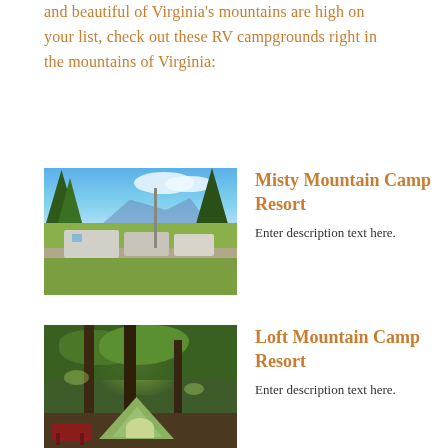and beautiful of Virginia's mountains are high on your list, check out these RV campgrounds right in the mountains of Virginia:
[Figure (photo): RV campground with RVs parked in a flat grassy area, blue sky, trees, and mountains in the background]
Misty Mountain Camp Resort
Enter description text here.
[Figure (photo): Tent camping in a forested area with trees, sunlight filtering through, a green tent, and a red picnic table]
Loft Mountain Camp Resort
Enter description text here.